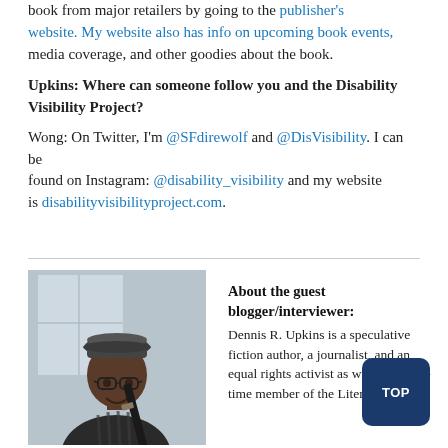book from major retailers by going to the publisher's website. My website also has info on upcoming book events, media coverage, and other goodies about the book.
Upkins: Where can someone follow you and the Disability Visibility Project?
Wong: On Twitter, I'm @SFdirewolf and @DisVisibility. I can be found on Instagram: @disability_visibility and my website is disabilityvisibilityproject.com.
[Figure (photo): Photo of Dennis R. Upkins, a Black man wearing a cap and glasses, smiling, holding what appears to be a katana sword handle, in a light indoor setting.]
About the guest blogger/interviewer: Dennis R. Upkins is a speculative fiction author, a journalist, and an equal rights activist as well as a long-time member of the Literary